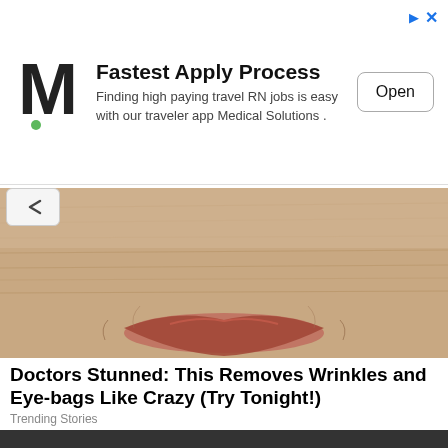[Figure (infographic): Advertisement banner with Medical Solutions logo (M), title 'Fastest Apply Process', subtitle 'Finding high paying travel RN jobs is easy with our traveler app Medical Solutions', and an 'Open' button]
[Figure (photo): Close-up photo of an elderly person's face showing wrinkled skin and lips]
Doctors Stunned: This Removes Wrinkles and Eye-bags Like Crazy (Try Tonight!)
Trending Stories
[Figure (photo): Illustration of hip/lower back pain showing a person wearing black shirt and blue pants, with an anatomical overlay of hip bone and red pain indicator area with concentric circles]